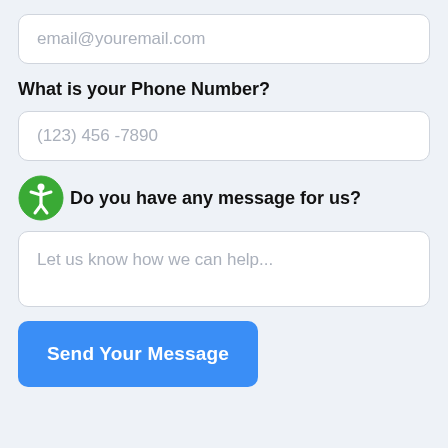[Figure (other): Email input field with placeholder text 'email@youremail.com']
What is your Phone Number?
[Figure (other): Phone number input field with placeholder text '(123) 456 -7890']
Do you have any message for us?
[Figure (other): Message textarea with placeholder text 'Let us know how we can help...']
[Figure (other): Blue 'Send Your Message' button]